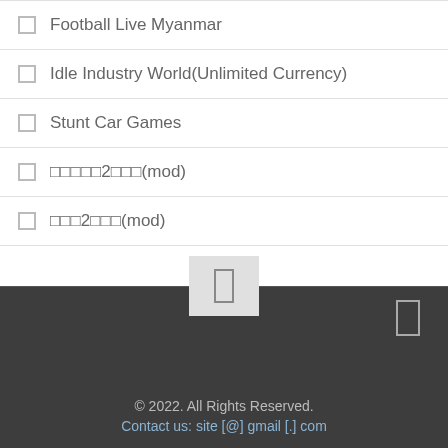Football Live Myanmar
Idle Industry World(Unlimited Currency)
Stunt Car Games
한국어2한국어(mod)
한국2한국(mod)
© 2022. All Rights Reserved.
Contact us: site [@] gmail [.] com